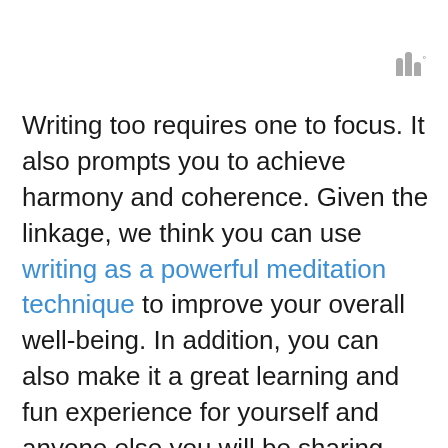|||°
Writing too requires one to focus. It also prompts you to achieve harmony and coherence. Given the linkage, we think you can use writing as a powerful meditation technique to improve your overall well-being. In addition, you can also make it a great learning and fun experience for yourself and anyone else you will be sharing your experience with.